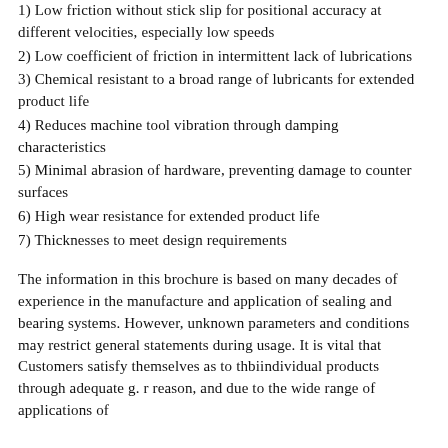1) Low friction without stick slip for positional accuracy at different velocities, especially low speeds
2) Low coefficient of friction in intermittent lack of lubrications
3) Chemical resistant to a broad range of lubricants for extended product life
4) Reduces machine tool vibration through damping characteristics
5) Minimal abrasion of hardware, preventing damage to counter surfaces
6) High wear resistance for extended product life
7) Thicknesses to meet design requirements
The information in this brochure is based on many decades of experience in the manufacture and application of sealing and bearing systems. However, unknown parameters and conditions may restrict general statements during usage. It is vital that Customers satisfy themselves as to the suitability of individual products through adequate testing. For this reason, and due to the wide range of applications of